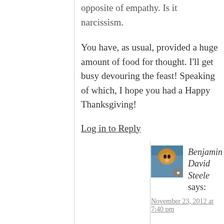opposite of empathy. Is it narcissism.
You have, as usual, provided a huge amount of food for thought. I’ll get busy devouring the feast! Speaking of which, I hope you had a Happy Thanksgiving!
Log in to Reply
Benjamin David Steele says:
November 23, 2012 at 7:40 pm
I suspect all of civilization wouldn’t have been possible if